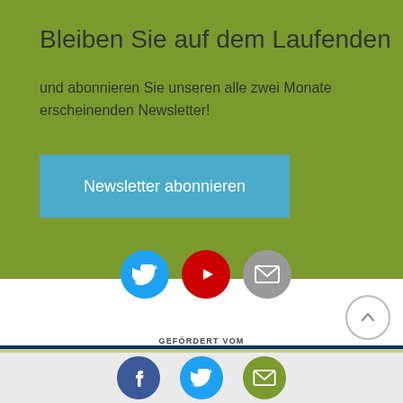Bleiben Sie auf dem Laufenden
und abonnieren Sie unseren alle zwei Monate erscheinenden Newsletter!
[Figure (other): Blue button labeled 'Newsletter abonnieren']
[Figure (other): Social media icons: Twitter (blue circle), YouTube (red circle), Mail (gray circle)]
[Figure (other): Scroll-to-top button (circle with up arrow)]
GEFÖRDERT VOM
[Figure (logo): Bundesministerium für Bildung und Forschung logo with eagle and newsletter icon overlay]
[Figure (other): Footer social icons: Facebook (dark blue), Twitter (light blue), Mail (olive green)]